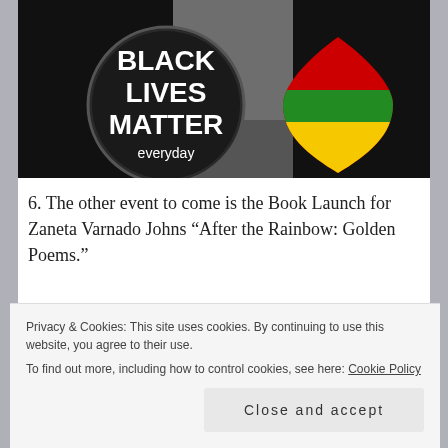[Figure (photo): Black background image with a circular button reading 'BLACK LIVES MATTER everyday' in white text on dark background, and a heart shape in red, green, and yellow (Pan-African colors) on the right side.]
6. The other event to come is the Book Launch for Zaneta Varnado Johns “After the Rainbow: Golden Poems.”
Privacy & Cookies: This site uses cookies. By continuing to use this website, you agree to their use.
To find out more, including how to control cookies, see here: Cookie Policy
Close and accept